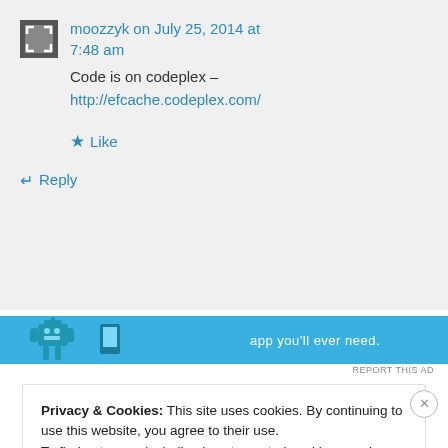moozzyk on July 25, 2014 at 7:48 am
Code is on codeplex – http://efcache.codeplex.com/
Like
Reply
[Figure (screenshot): Ad banner with robot illustration and text 'app you'll ever need.' on blue background]
REPORT THIS AD
Privacy & Cookies: This site uses cookies. By continuing to use this website, you agree to their use.
To find out more, including how to control cookies, see here: Cookie Policy
Close and accept